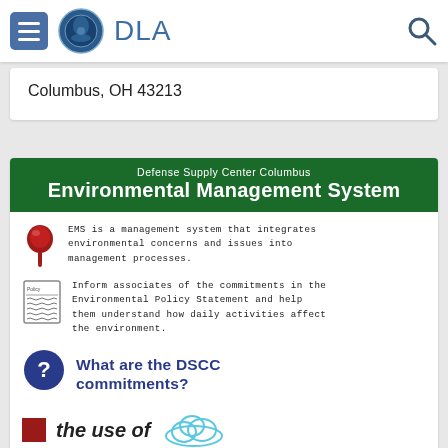DLA
Columbus, OH 43213
[Figure (infographic): Defense Supply Center Columbus Environmental Management System infographic with green header banner, pin icon with EMS description text, policy document icon with Environmental Policy Statement text, question bubble icon asking 'What are the DSCC commitments?', and partial bottom row with red square and 'the use of' text with cloud illustration]
EMS is a management system that integrates environmental concerns and issues into management processes.
Inform associates of the commitments in the Environmental Policy Statement and help them understand how daily activities affect the environment.
What are the DSCC commitments?
the use of